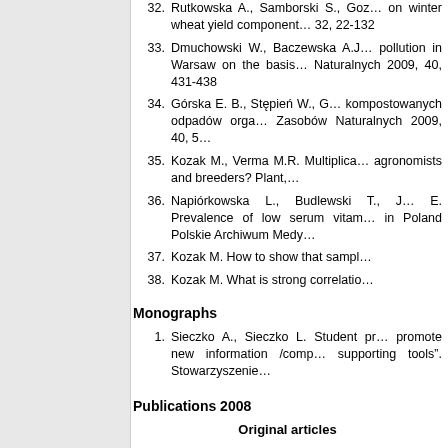32. Rutkowska A., Samborski S., Goz... on winter wheat yield component... 32, 22-132
33. Dmuchowski W., Baczewska A.J... pollution in Warsaw on the basis... Naturalnych 2009, 40, 431-438
34. Górska E. B., Stępień W., G... kompostowanych odpadów orga... Zasobów Naturalnych 2009, 40, 5...
35. Kozak M., Verma M.R. Multiplica... agronomists and breeders? Plant,...
36. Napiórkowska L., Budlewski T., J... E. Prevalence of low serum vitam... in Poland Polskie Archiwum Medy...
37. Kozak M. How to show that sampl...
38. Kozak M. What is strong correlatio...
Monographs
1. Sieczko A., Sieczko L. Student pr... promote new information /comp... supporting tools". Stowarzyszenie...
Publications 2008
Original articles